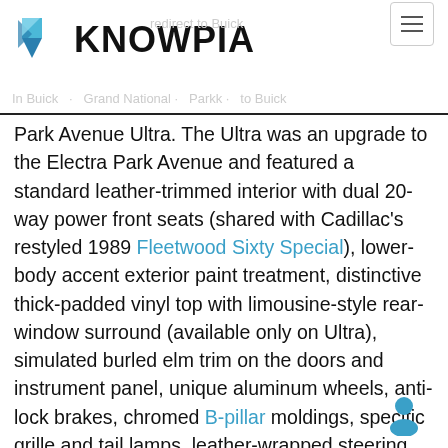KNOWPIA
Park Avenue Ultra. The Ultra was an upgrade to the Electra Park Avenue and featured a standard leather-trimmed interior with dual 20-way power front seats (shared with Cadillac's restyled 1989 Fleetwood Sixty Special), lower-body accent exterior paint treatment, distinctive thick-padded vinyl top with limousine-style rear-window surround (available only on Ultra), simulated burled elm trim on the doors and instrument panel, unique aluminum wheels, anti-lock brakes, chromed B-pillar moldings, specific grille and tail lamps, leather-wrapped steering wheel, electronic instrumentation, padded glove-compartment doc unique interior door panel trim, and a variety of otherwise minor changes. With its long list of standard